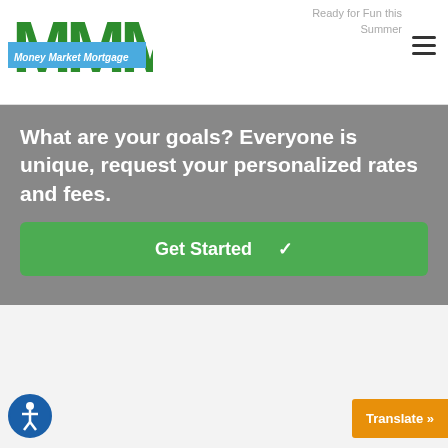[Figure (logo): Money Market Mortgage logo with large green M letters and blue banner reading 'Money Market Mortgage']
Ready for Fun this Summer
What are your goals? Everyone is unique, request your personalized rates and fees.
Get Started ✓
About Us
Since 1997 Money Market Mortgage, LLC has been in business of residential and commercial loan origination. We are a company that se